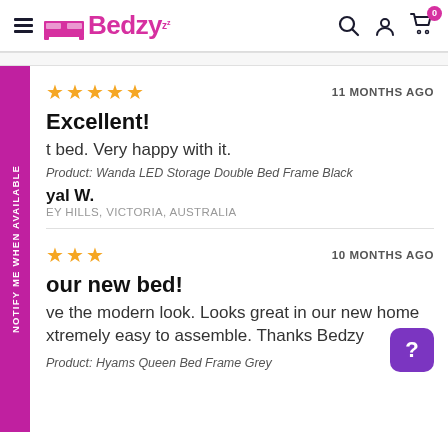Bedzy
★★★★★  11 MONTHS AGO
Excellent!
...t bed. Very happy with it.
Product: Wanda LED Storage Double Bed Frame Black
...yal W.
...EY HILLS, VICTORIA, AUSTRALIA
★★★  10 MONTHS AGO
...our new bed!
...ve the modern look. Looks great in our new home...xtremely easy to assemble. Thanks Bedzy
Product: Hyams Queen Bed Frame Grey